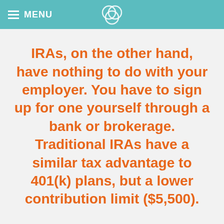MENU
IRAs, on the other hand, have nothing to do with your employer. You have to sign up for one yourself through a bank or brokerage. Traditional IRAs have a similar tax advantage to 401(k) plans, but a lower contribution limit ($5,500).